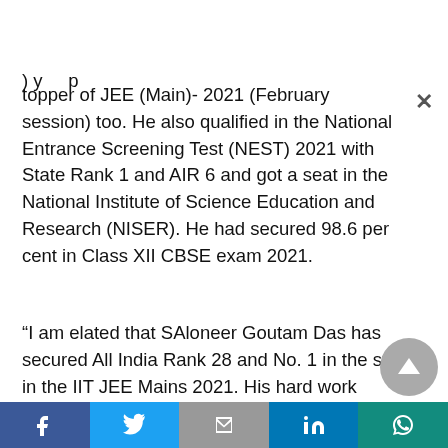) y p topper of JEE (Main)- 2021 (February session) too. He also qualified in the National Entrance Screening Test (NEST) 2021 with State Rank 1 and AIR 6 and got a seat in the National Institute of Science Education and Research (NISER). He had secured 98.6 per cent in Class XII CBSE exam 2021.
“I am elated that SAloneer Goutam Das has secured All India Rank 28 and No. 1 in the state in the IIT JEE Mains 2021. His hard work...